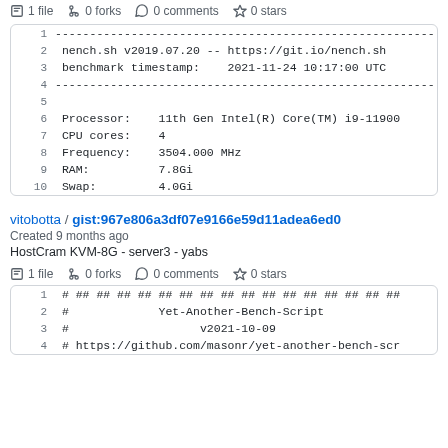1 file  0 forks  0 comments  0 stars
1  ---...
2   nench.sh v2019.07.20 -- https://git.io/nench.sh
3   benchmark timestamp:    2021-11-24 10:17:00 UTC
4  ---...
5
6   Processor:    11th Gen Intel(R) Core(TM) i9-11900
7   CPU cores:    4
8   Frequency:    3504.000 MHz
9   RAM:          7.8Gi
10  Swap:         4.0Gi
vitobotta / gist:967e806a3df07e9166e59d11adea6ed0
Created 9 months ago
HostCram KVM-8G - server3 - yabs
1 file  0 forks  0 comments  0 stars
1  # ## ## ## ## ## ## ## ## ## ## ## ## ## ## ## ##
2  #              Yet-Another-Bench-Script
3  #                    v2021-10-09
4  # https://github.com/masonr/yet-another-bench-scr